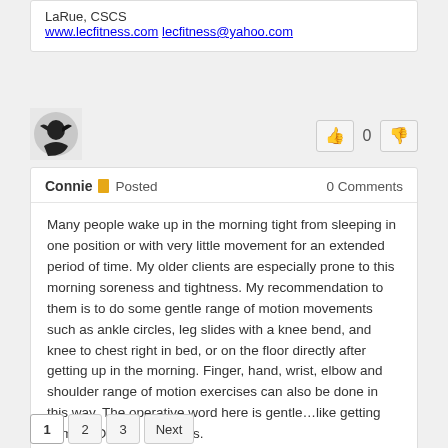LaRue, CSCS
www.lecfitness.com
lecfitness@yahoo.com
Connie Posted 0 Comments
Many people wake up in the morning tight from sleeping in one position or with very little movement for an extended period of time. My older clients are especially prone to this morning soreness and tightness. My recommendation to them is to do some gentle range of motion movements such as ankle circles, leg slides with a knee bend, and knee to chest right in bed, or on the floor directly after getting up in the morning. Finger, hand, wrist, elbow and shoulder range of motion exercises can also be done in this way. The operative word here is gentle…like getting some WD40 on stiff joints.
Many “old school” coaches and athletes still believe that deep static stretching is necessary before participating in their sport or fitness program. Modern theory is that dynamic range of motion and “like motion” exercises are better to warm up muscles prior to exercise, and then deeper, more intense flexibility work is beneficial after a workout.
1 2 3 Next